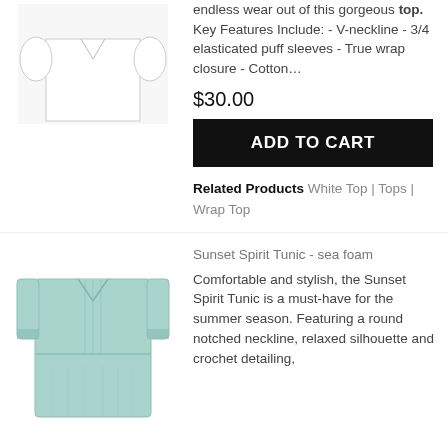[Figure (photo): White wrap top product image on white background]
endless wear out of this gorgeous top. Key Features Include: - V-neckline - 3/4 elasticated puff sleeves - True wrap closure - Cotton…
$30.00
ADD TO CART
Related Products White Top | Tops | Wrap Top
[Figure (photo): Seafoam/light teal Sunset Spirit Tunic product image]
Sunset Spirit Tunic - sea foam
Comfortable and stylish, the Sunset Spirit Tunic is a must-have for the summer season. Featuring a round notched neckline, relaxed silhouette and crochet detailing,